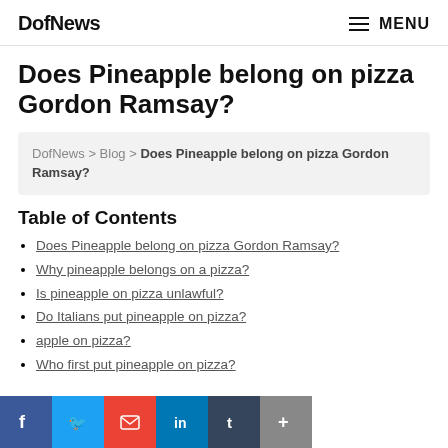DofNews | MENU
Does Pineapple belong on pizza Gordon Ramsay?
DofNews > Blog > Does Pineapple belong on pizza Gordon Ramsay?
Table of Contents
Does Pineapple belong on pizza Gordon Ramsay?
Why pineapple belongs on a pizza?
Is pineapple on pizza unlawful?
Do Italians put pineapple on pizza?
[social bar obscures] apple on pizza?
Who first put pineapple on pizza?